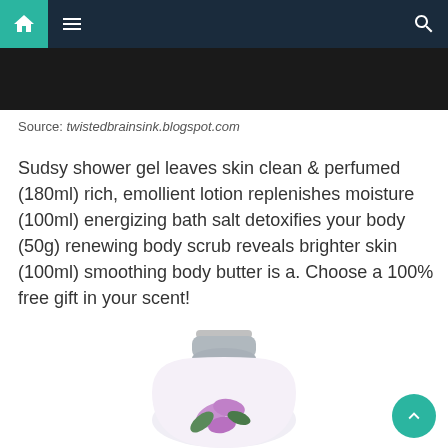Navigation bar with home, menu, and search icons
[Figure (photo): Dark image strip at top of page, partially cropped]
Source: twistedbrainsink.blogspot.com
Sudsy shower gel leaves skin clean & perfumed (180ml) rich, emollient lotion replenishes moisture (100ml) energizing bath salt detoxifies your body (50g) renewing body scrub reveals brighter skin (100ml) smoothing body butter is a. Choose a 100% free gift in your scent!
[Figure (photo): Partial view of a lotion or perfume bottle with floral design (purple orchid), silver cap, white body, photographed on white background]